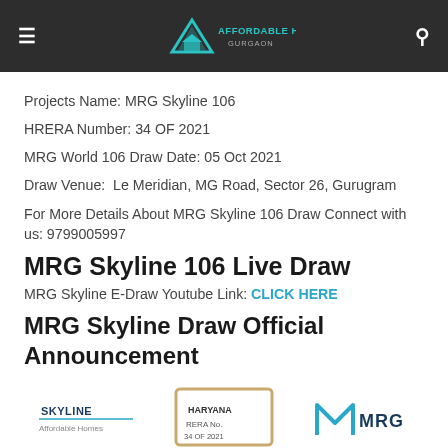≡  AFFORDABLE HOUSING GURGAON  🔍
Projects Name: MRG Skyline 106
HRERA Number: 34 OF 2021
MRG World 106 Draw Date: 05 Oct 2021
Draw Venue:  Le Meridian, MG Road, Sector 26, Gurugram
For More Details About MRG Skyline 106 Draw Connect with us: 9799005997
MRG Skyline 106 Live Draw
MRG Skyline E-Draw Youtube Link: CLICK HERE
MRG Skyline Draw Official Announcement
[Figure (logo): Three logos at the bottom: Skyline logo, a second logo, and MRG logo]